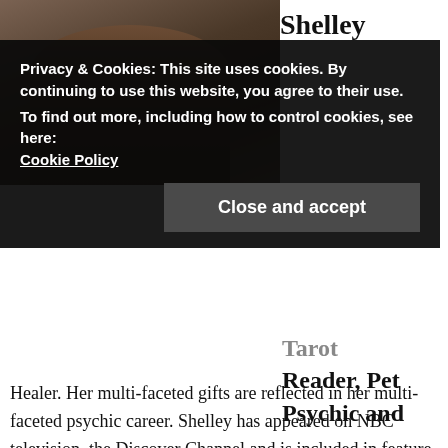[Figure (photo): Photo of a woman (Shelley) with dark hair, wearing decorative clothing, against a light background.]
Shelley
Privacy & Cookies: This site uses cookies. By continuing to use this website, you agree to their use.
To find out more, including how to control cookies, see here:
Cookie Policy
Close and accept
Tarot Reader, Pet Psychic and Healer. Her multi-faceted gifts are reflected in her multi-faceted psychic career. Shelley has appeared on NBC television, the Discover Channel and is included in feature articles of newspapers such as the Hollywood Independent and Ventura Star.  As a staff member of the West Coast Well Being metaphysical publication, Shelley was